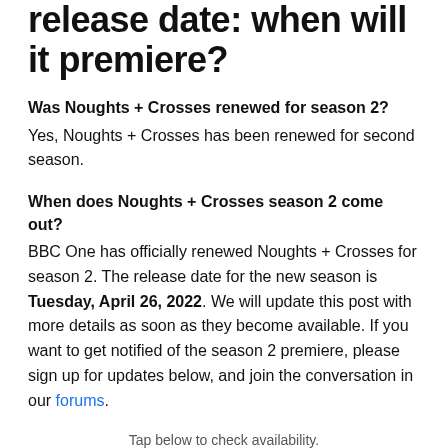release date: when will it premiere?
Was Noughts + Crosses renewed for season 2?
Yes, Noughts + Crosses has been renewed for second season.
When does Noughts + Crosses season 2 come out?
BBC One has officially renewed Noughts + Crosses for season 2. The release date for the new season is Tuesday, April 26, 2022. We will update this post with more details as soon as they become available. If you want to get notified of the season 2 premiere, please sign up for updates below, and join the conversation in our forums.
Tap below to check availability.
watch on